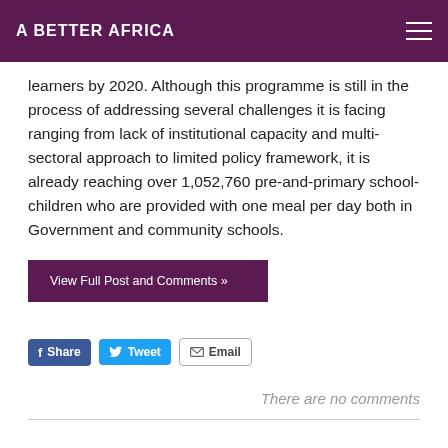A BETTER AFRICA
learners by 2020. Although this programme is still in the process of addressing several challenges it is facing ranging from lack of institutional capacity and multi-sectoral approach to limited policy framework, it is already reaching over 1,052,760 pre-and-primary school-children who are provided with one meal per day both in Government and community schools.
View Full Post and Comments »
Share   Tweet   Email
There are no comments